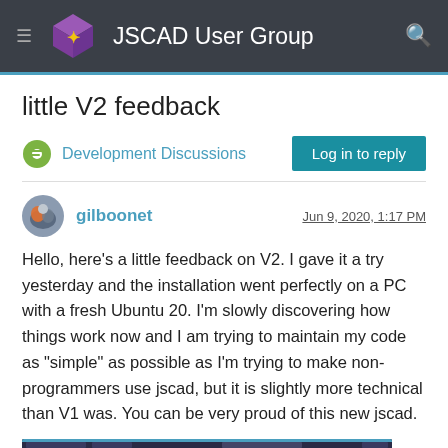JSCAD User Group
little V2 feedback
Development Discussions
Log in to reply
gilboonet
Jun 9, 2020, 1:17 PM
Hello, here's a little feedback on V2. I gave it a try yesterday and the installation went perfectly on a PC with a fresh Ubuntu 20. I'm slowly discovering how things work now and I am trying to maintain my code as "simple" as possible as I'm trying to make non-programmers use jscad, but it is slightly more technical than V1 was. You can be very proud of this new jscad.
[Figure (screenshot): Screenshot of JSCAD V2 interface showing code editor and 3D view]